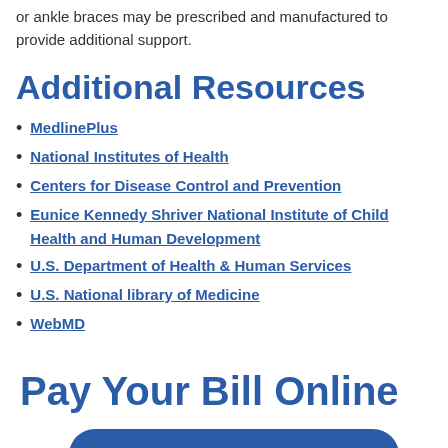or ankle braces may be prescribed and manufactured to provide additional support.
Additional Resources
MedlinePlus
National Institutes of Health
Centers for Disease Control and Prevention
Eunice Kennedy Shriver National Institute of Child Health and Human Development
U.S. Department of Health & Human Services
U.S. National library of Medicine
WebMD
Pay Your Bill Online